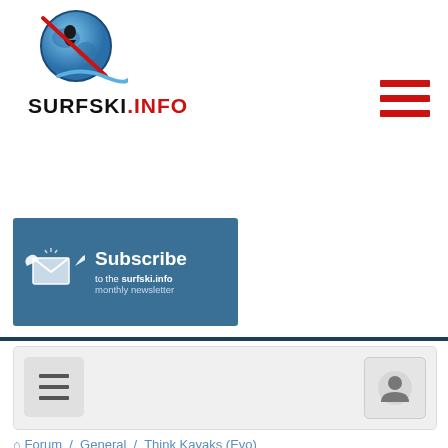[Figure (logo): Surfski.info logo with globe graphic and text]
[Figure (other): Red hamburger menu icon (three horizontal red bars) in top-right corner]
[Figure (infographic): Blue banner with envelope/bird icon and text: Subscribe to the surfski.info monthly newsletter]
[Figure (screenshot): Forum navigation panel with hamburger icon on left and user account icon on right]
Forum / General / Think Kayaks (Evo)